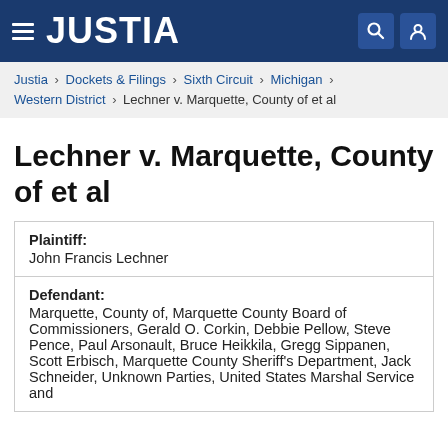JUSTIA
Justia › Dockets & Filings › Sixth Circuit › Michigan › Western District › Lechner v. Marquette, County of et al
Lechner v. Marquette, County of et al
| Plaintiff: | John Francis Lechner |
| Defendant: | Marquette, County of, Marquette County Board of Commissioners, Gerald O. Corkin, Debbie Pellow, Steve Pence, Paul Arsonault, Bruce Heikkila, Gregg Sippanen, Scott Erbisch, Marquette County Sheriff's Department, Jack Schneider, Unknown Parties, United States Marshal Service and |